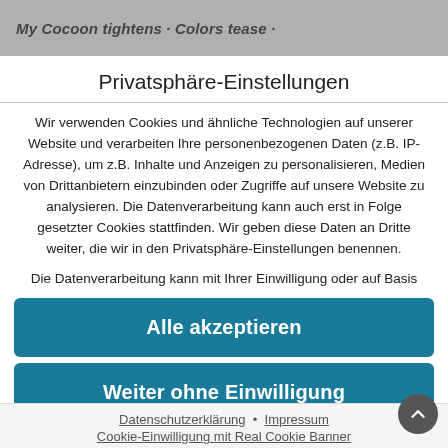My Cocoon tightens · Colors tease ·
Privatsphäre-Einstellungen
Wir verwenden Cookies und ähnliche Technologien auf unserer Website und verarbeiten Ihre personenbezogenen Daten (z.B. IP-Adresse), um z.B. Inhalte und Anzeigen zu personalisieren, Medien von Drittanbietern einzubinden oder Zugriffe auf unsere Website zu analysieren. Die Datenverarbeitung kann auch erst in Folge gesetzter Cookies stattfinden. Wir geben diese Daten an Dritte weiter, die wir in den Privatsphäre-Einstellungen benennen.
Die Datenverarbeitung kann mit Ihrer Einwilligung oder auf Basis
Alle akzeptieren
Weiter ohne Einwilligung
Privatsphäre-Einstellungen individuell festlegen
Datenschutzerklärung • Impressum Cookie-Einwilligung mit Real Cookie Banner